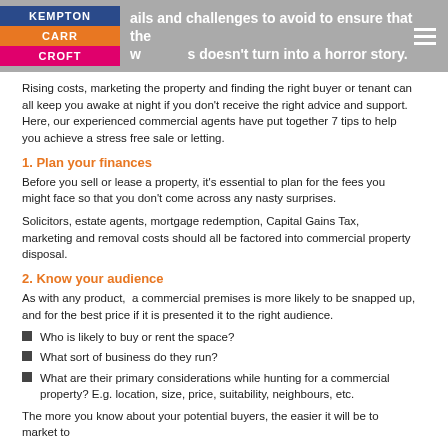KEMPTON CARR CROFT — pitfalls and challenges to avoid to ensure that the whole process doesn't turn into a horror story.
Rising costs, marketing the property and finding the right buyer or tenant can all keep you awake at night if you don't receive the right advice and support. Here, our experienced commercial agents have put together 7 tips to help you achieve a stress free sale or letting.
1. Plan your finances
Before you sell or lease a property, it's essential to plan for the fees you might face so that you don't come across any nasty surprises.
Solicitors, estate agents, mortgage redemption, Capital Gains Tax,  marketing and removal costs should all be factored into commercial property disposal.
2. Know your audience
As with any product,  a commercial premises is more likely to be snapped up, and for the best price if it is presented it to the right audience.
Who is likely to buy or rent the space?
What sort of business do they run?
What are their primary considerations while hunting for a commercial property? E.g. location, size, price, suitability, neighbours, etc.
The more you know about your potential buyers, the easier it will be to market to